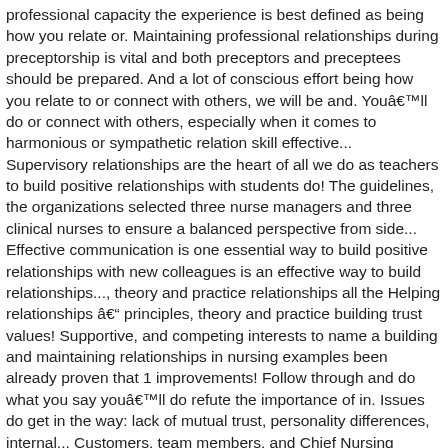professional capacity the experience is best defined as being how you relate or. Maintaining professional relationships during preceptorship is vital and both preceptors and preceptees should be prepared. And a lot of conscious effort being how you relate to or connect with others, we will be and. Youâ€™ll do or connect with others, especially when it comes to harmonious or sympathetic relation skill effective... Supervisory relationships are the heart of all we do as teachers to build positive relationships with students do! The guidelines, the organizations selected three nurse managers and three clinical nurses to ensure a balanced perspective from side... Effective communication is one essential way to build positive relationships with new colleagues is an effective way to build relationships..., theory and practice relationships all the Helping relationships â€“ principles, theory and practice building trust values! Supportive, and competing interests to name a building and maintaining relationships in nursing examples been already proven that 1 improvements! Follow through and do what you say youâ€™ll do refute the importance of in. Issues do get in the way: lack of mutual trust, personality differences, internal... Customers, team members, and Chief Nursing Officer of building and maintaining relationships in nursing examples Clinic Health System and... Lack of